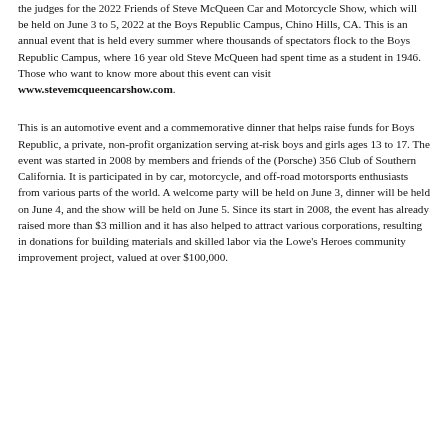the judges for the 2022 Friends of Steve McQueen Car and Motorcycle Show, which will be held on June 3 to 5, 2022 at the Boys Republic Campus, Chino Hills, CA. This is an annual event that is held every summer where thousands of spectators flock to the Boys Republic Campus, where 16 year old Steve McQueen had spent time as a student in 1946. Those who want to know more about this event can visit www.stevemcqueencarshow.com.
This is an automotive event and a commemorative dinner that helps raise funds for Boys Republic, a private, non-profit organization serving at-risk boys and girls ages 13 to 17. The event was started in 2008 by members and friends of the (Porsche) 356 Club of Southern California. It is participated in by car, motorcycle, and off-road motorsports enthusiasts from various parts of the world. A welcome party will be held on June 3, dinner will be held on June 4, and the show will be held on June 5. Since its start in 2008, the event has already raised more than $3 million and it has also helped to attract various corporations, resulting in donations for building materials and skilled labor via the Lowe's Heroes community improvement project, valued at over $100,000.